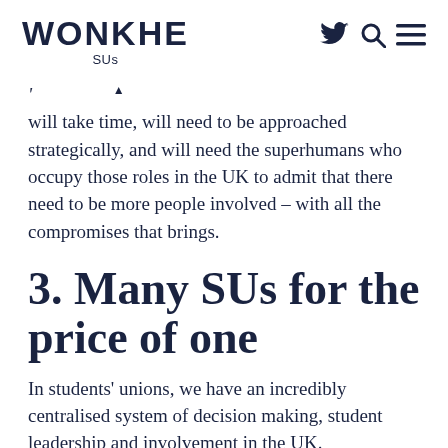WONKHE SUs
will take time, will need to be approached strategically, and will need the superhumans who occupy those roles in the UK to admit that there need to be more people involved – with all the compromises that brings.
3. Many SUs for the price of one
In students' unions, we have an incredibly centralised system of decision making, student leadership and involvement in the UK.